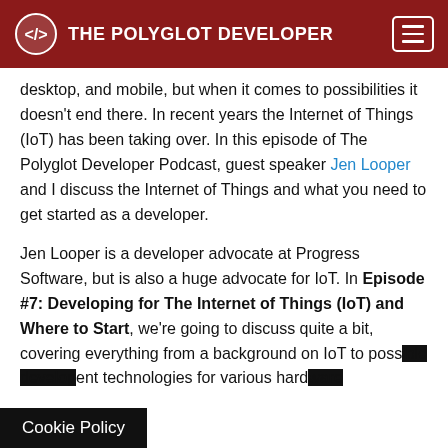THE POLYGLOT DEVELOPER
desktop, and mobile, but when it comes to possibilities it doesn't end there. In recent years the Internet of Things (IoT) has been taking over. In this episode of The Polyglot Developer Podcast, guest speaker Jen Looper and I discuss the Internet of Things and what you need to get started as a developer.
Jen Looper is a developer advocate at Progress Software, but is also a huge advocate for IoT. In Episode #7: Developing for The Internet of Things (IoT) and Where to Start, we're going to discuss quite a bit, covering everything from a background on IoT to possible development technologies for various hard...
Cookie Policy